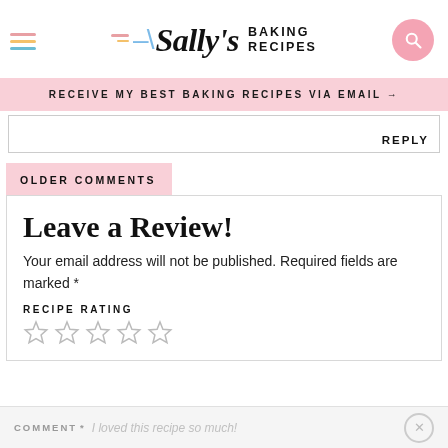[Figure (logo): Sally's Baking Recipes logo with hamburger menu, decorative dashes and slash, cursive Sally's text, BAKING RECIPES text, and pink search button]
RECEIVE MY BEST BAKING RECIPES VIA EMAIL →
REPLY
OLDER COMMENTS
Leave a Review!
Your email address will not be published. Required fields are marked *
RECIPE RATING
[Figure (other): Five empty star rating icons]
COMMENT* I loved this recipe so much!